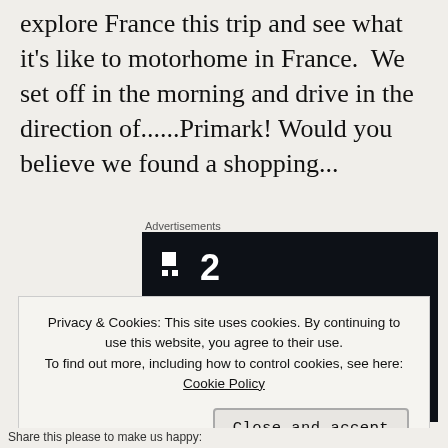explore France this trip and see what it's like to motorhome in France.  We set off in the morning and drive in the direction of......Primark! Would you believe we found a shopping...
Advertisements
[Figure (screenshot): Advertisement for a project management or meeting tool showing logo '■2' and text 'Fewer meetings, more work' on a dark background]
Privacy & Cookies: This site uses cookies. By continuing to use this website, you agree to their use.
To find out more, including how to control cookies, see here: Cookie Policy
Close and accept
Share this please to make us happy: